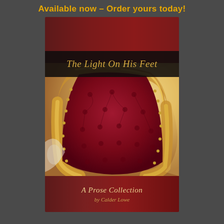Available now – Order yours today!
[Figure (photo): Book cover for 'The Light On His Feet: A Prose Collection by Calder Lowe', showing a tufted red velvet armchair with ornate gold frame against a warm background. Dark band across upper portion shows the title in gold italic text. Dark band at bottom shows subtitle and author name.]